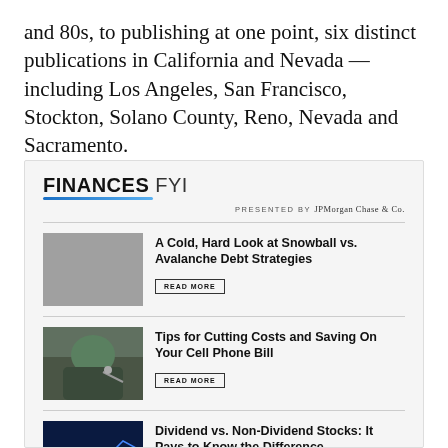and 80s, to publishing at one point, six distinct publications in California and Nevada — including Los Angeles, San Francisco, Stockton, Solano County, Reno, Nevada and Sacramento.
[Figure (screenshot): Finances FYI newsletter card presented by JPMorgan Chase & Co., featuring three article listings: 'A Cold, Hard Look at Snowball vs. Avalanche Debt Strategies', 'Tips for Cutting Costs and Saving On Your Cell Phone Bill', and 'Dividend vs. Non-Dividend Stocks: It Pays to Know the Difference', each with a thumbnail image and a READ MORE button.]